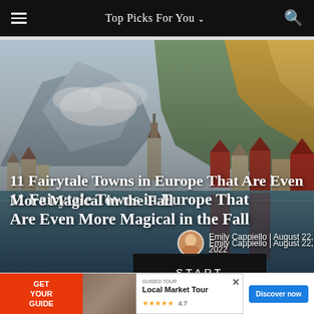Top Picks For You
[Figure (photo): Scenic photo of a European fairytale town (Hallstatt, Austria) with colorful buildings along a lake, mountains with clouds in background, and autumn foliage. Title overlay reads '11 Fairytale Towns in Europe That Are Even More Magical in the Fall'. Author byline: Emily Cappiello | August 22, 2022. START button overlay at bottom center.]
11 Fairytale Towns in Europe That Are Even More Magical in the Fall
Emily Cappiello | August 22, 2022
[Figure (screenshot): Advertisement banner: GET YOUR GUIDE | Local Market Tour | 4.7 stars | Discover now button]